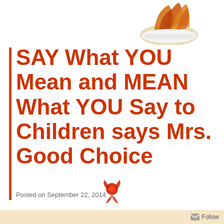[Figure (illustration): Decorative flame or autumn leaves motif in orange and gold tones, positioned top right of the page]
[Figure (illustration): Faint background illustration of children figures in light blue/grey tones covering the main content area]
SAY What YOU Mean and MEAN What YOU Say to Children says Mrs. Good Choice
Posted on September 22, 2014
Mrs. Good Choice is a former public school principal who has spent her life teaching children to make wise choices. She now wants to help YOU!
[Figure (illustration): Red decorative flower or figure motif at the bottom center of the page]
Follow